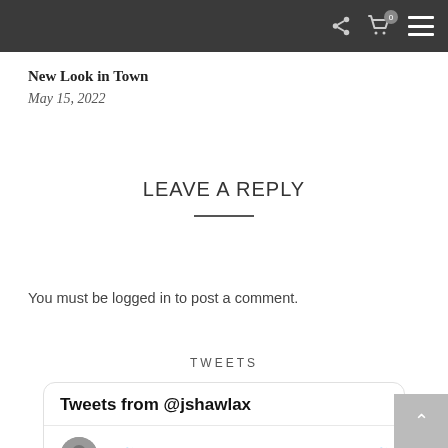Navigation header with share, cart (0), and menu icons
New Look in Town
May 15, 2022
LEAVE A REPLY
You must be logged in to post a comment.
TWEETS
Tweets from @jshawlax